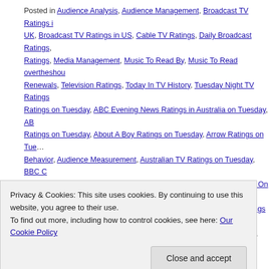Posted in Audience Analysis, Audience Management, Broadcast TV Ratings in UK, Broadcast TV Ratings in US, Cable TV Ratings, Daily Broadcast Ratings, Media Management, Music To Read By, Music To Read overtheshou Renewals, Television Ratings, Today In TV History, Tuesday Night TV Ratings, Ratings on Tuesday, ABC Evening News Ratings in Australia on Tuesday, AB Ratings on Tuesday, About A Boy Ratings on Tuesday, Arrow Ratings on Tue Behavior, Audience Measurement, Australian TV Ratings on Tuesday, BBC C Ratings on Tuesday, BBC Two Ratings in the UK on Tuesday, CBS #1 On Mo Tuesday, Channel 5 Ratings in the UK on Tuesday, Chicago Fire Ratings on T Direct, E4 Ratings in the UK on Tuesday, Forever Ratings on Tuesday, FOX F on Tuesday, Lance Hanish, Marry Me Ratings on Tuesday, Marvel's Agent Ca Ratings on Tuesday, Media, Media Analysis, Media Management, Mobile, Mo Ratings on Tuesday, NCIS #1 on Monday with over 19 1/2 million viewers, N Orleans Ratings on Tuesday, New Girl Ratings on Tuesday, Nine News #1 Ra 6:30 Ratings on Tuesday, Parks & Recreation Ratings on Tuesday, Person of in Australia on Tuesday, Seven #1 Ratings on Tuesday, Seven News Ratings Ratings in Australia on Tuesday, Shark Tank Ratings on Tuesday, Telemundo
Privacy & Cookies: This site uses cookies. By continuing to use this website, you agree to their use.
To find out more, including how to control cookies, see here: Our Cookie Policy
Close and accept
CBS Wins Again On Tuesday In The U.S